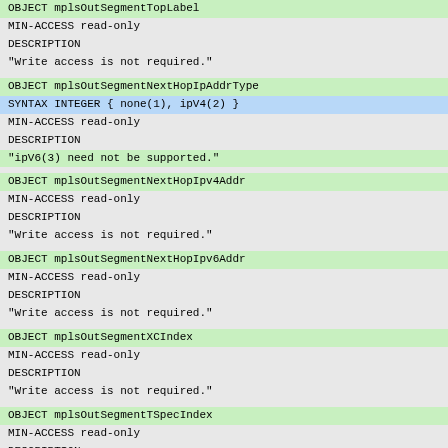OBJECT      mplsOutSegmentTopLabel
MIN-ACCESS  read-only
DESCRIPTION
    "Write access is not required."
OBJECT      mplsOutSegmentNextHopIpAddrType
SYNTAX      INTEGER { none(1), ipV4(2) }
MIN-ACCESS  read-only
DESCRIPTION
    "ipV6(3) need not be supported."
OBJECT      mplsOutSegmentNextHopIpv4Addr
MIN-ACCESS  read-only
DESCRIPTION
    "Write access is not required."
OBJECT      mplsOutSegmentNextHopIpv6Addr
MIN-ACCESS  read-only
DESCRIPTION
    "Write access is not required."
OBJECT      mplsOutSegmentXCIndex
MIN-ACCESS  read-only
DESCRIPTION
    "Write access is not required."
OBJECT      mplsOutSegmentTSpecIndex
MIN-ACCESS  read-only
DESCRIPTION
    "Write access is not required."
OBJECT      mplsOutSegmentAdminStatus
SYNTAX      INTEGER { up(1), down(2) }